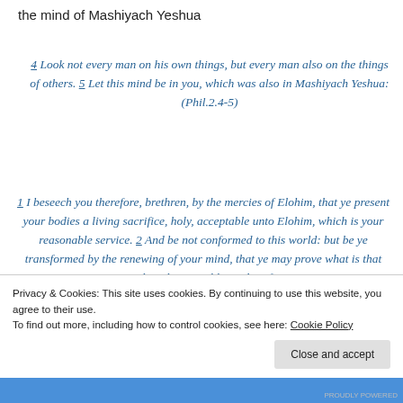the mind of Mashiyach Yeshua
4 Look not every man on his own things, but every man also on the things of others. 5 Let this mind be in you, which was also in Mashiyach Yeshua: (Phil.2.4-5)
1 I beseech you therefore, brethren, by the mercies of Elohim, that ye present your bodies a living sacrifice, holy, acceptable unto Elohim, which is your reasonable service. 2 And be not conformed to this world: but be ye transformed by the renewing of your mind, that ye may prove what is that good, and acceptable, and perfect
Privacy & Cookies: This site uses cookies. By continuing to use this website, you agree to their use.
To find out more, including how to control cookies, see here: Cookie Policy
Close and accept